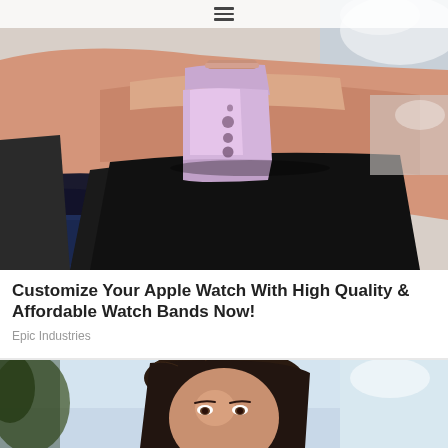≡
[Figure (photo): Close-up photo of a person's wrist wearing a pink/lavender Apple Watch with a silicone band, arm resting on a dark surface outdoors]
Customize Your Apple Watch With High Quality & Affordable Watch Bands Now!
Epic Industries
[Figure (photo): Photo of a woman with dark hair looking upward, partial view, light blue sky background]